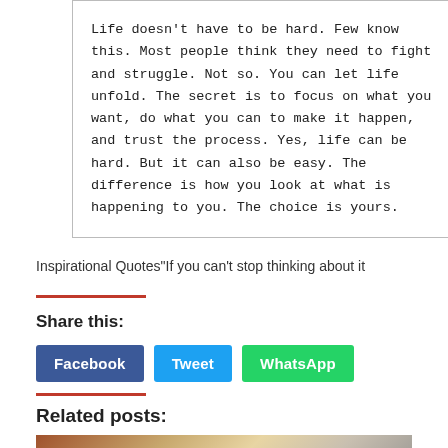[Figure (screenshot): A bordered text box containing a typewriter-font motivational quote: 'Life doesn't have to be hard. Few know this. Most people think they need to fight and struggle. Not so. You can let life unfold. The secret is to focus on what you want, do what you can to make it happen, and trust the process. Yes, life can be hard. But it can also be easy. The difference is how you look at what is happening to you. The choice is yours.']
Inspirational Quotes"If you can't stop thinking about it
Share this:
Facebook  Tweet  WhatsApp
Related posts:
[Figure (photo): A photo showing a notebook or card with text 'B-HIVE BECAUSE...' and a yellow phone/device on a wooden surface.]